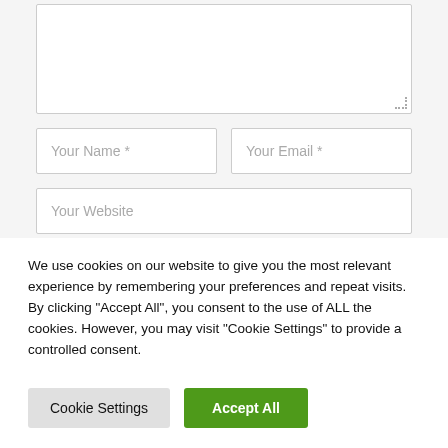[Figure (screenshot): A textarea input field with a resize handle in the bottom-right corner]
Your Name *
Your Email *
Your Website
Save my name, email, and website in this browser
We use cookies on our website to give you the most relevant experience by remembering your preferences and repeat visits. By clicking "Accept All", you consent to the use of ALL the cookies. However, you may visit "Cookie Settings" to provide a controlled consent.
Cookie Settings
Accept All